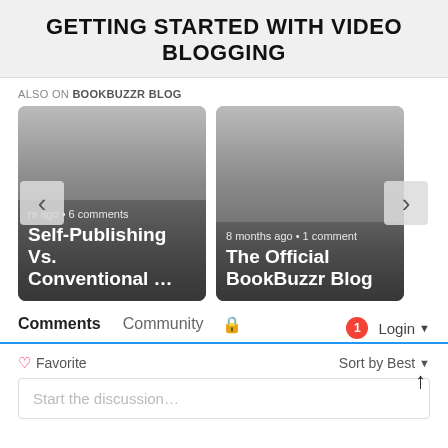GETTING STARTED WITH VIDEO BLOGGING
ALSO ON BOOKBUZZR BLOG
[Figure (screenshot): Carousel of blog post cards. Left card: '...rs ago • 6 comments / Self-Publishing Vs. Conventional ...' with navigation arrow left. Right card: '8 months ago • 1 comment / The Official BookBuzzr Blog' with navigation arrow right.]
Comments   Community   🔒   1   Login ▾
♡ Favorite   Sort by Best ▾
Start the discussion...